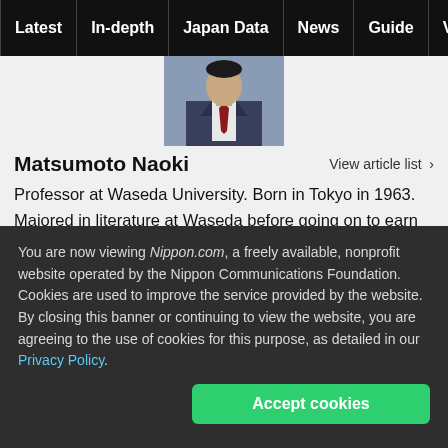Latest | In-depth | Japan Data | News | Guide | Video
[Figure (photo): Headshot photo of Matsumoto Naoki, a man in a suit with a red tie]
Matsumoto Naoki
View article list >
Professor at Waseda University. Born in Tokyo in 1963. Majored in literature at Waseda before going on to earn his master's degree and PhD in literature at the same university. Began at his present position in 2008,
You are now viewing Nippon.com, a freely available, nonprofit website operated by the Nippon Communications Foundation. Cookies are used to improve the service provided by the website. By closing this banner or continuing to view the website, you are agreeing to the use of cookies for this purpose, as detailed in our Privacy Policy.
Accept cookies